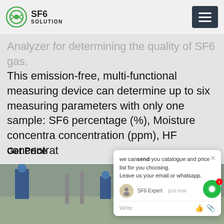SF6 SOLUTION
Analyzer for determining the quality of SF6 gas. This emission-free, multi-functional measuring device can determine up to six measuring parameters with only one sample: SF6 percentage (%), Moisture concentration (ppm), HF concentration (ppm),
Get Price
[Figure (photo): Workers in blue hard hats and overalls working at an industrial outdoor substation or gas facility, with metal equipment stands/columns on a tiled surface]
we can send you catalogue and price list for you choosing. Leave us your email or whatsapp.
SF6 Expert    just now
Write